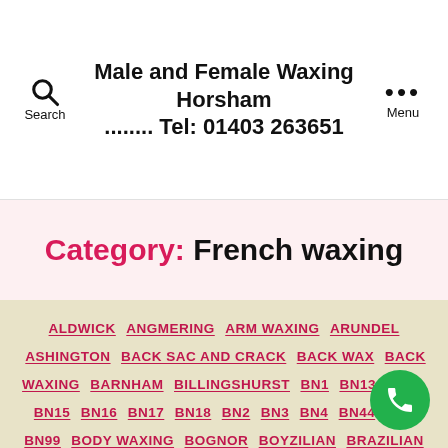Male and Female Waxing Horsham ........ Tel: 01403 263651
Category: French waxing
ALDWICK ANGMERING ARM WAXING ARUNDEL ASHINGTON BACK SAC AND CRACK BACK WAX BACK WAXING BARNHAM BILLINGSHURST BN1 BN13 BN14 BN15 BN16 BN17 BN18 BN2 BN3 BN4 BN44 BN5 BN99 BODY WAXING BOGNOR BOYZILIAN BRAZILIAN BROADBRIDGE HEATH BROADWATER BROZILIAN BSC BSC WAX BURGESS HILL CHEST WAX CHEST WAXING CHICHESTER CHIN WAXING CONTACT US